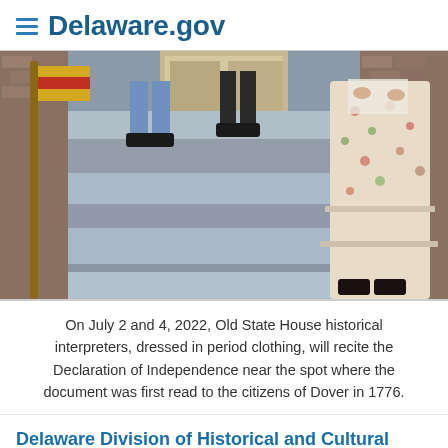Delaware.gov
[Figure (photo): Historical interpreters in period colonial clothing standing on the steps of the Old State House, showing their legs/feet and a woman in a floral dress on the right, with a flag pole on the left.]
On July 2 and 4, 2022, Old State House historical interpreters, dressed in period clothing, will recite the Declaration of Independence near the spot where the document was first read to the citizens of Dover in 1776.
Delaware Division of Historical and Cultural Affairs special programs, July 2022